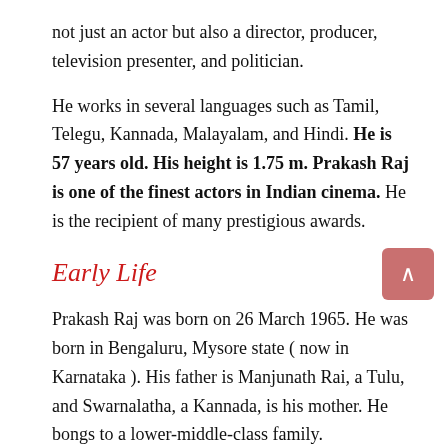not just an actor but also a director, producer, television presenter, and politician.
He works in several languages such as Tamil, Telegu, Kannada, Malayalam, and Hindi. He is 57 years old. His height is 1.75 m. Prakash Raj is one of the finest actors in Indian cinema. He is the recipient of many prestigious awards.
Early Life
Prakash Raj was born on 26 March 1965. He was born in Bengaluru, Mysore state ( now in Karnataka ). His father is Manjunath Rai, a Tulu, and Swarnalatha, a Kannada, is his mother. He bongs to a lower-middle-class family.
He has a sibling. Prasad Raj is his brother. He is also an